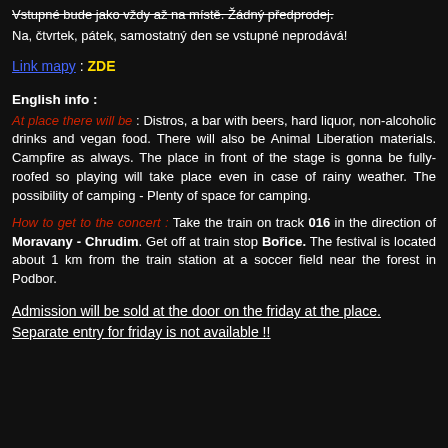Vstupné bude jako vždy až na místě. Žádný předprodej.
Na, čtvrtek, pátek, samostatný den se vstupné neprodává!
Link mapy : ZDE
English info :
At place there will be : Distros, a bar with beers, hard liquor, non-alcoholic drinks and vegan food. There will also be Animal Liberation materials. Campfire as always. The place in front of the stage is gonna be fully-roofed so playing will take place even in case of rainy weather. The possibility of camping - Plenty of space for camping.
How to get to the concert : Take the train on track 016 in the direction of Moravany - Chrudim. Get off at train stop Bořice. The festival is located about 1 km from the train station at a soccer field near the forest in Podbor.
Admission will be sold at the door on the friday at the place. Separate entry for friday is not available !!